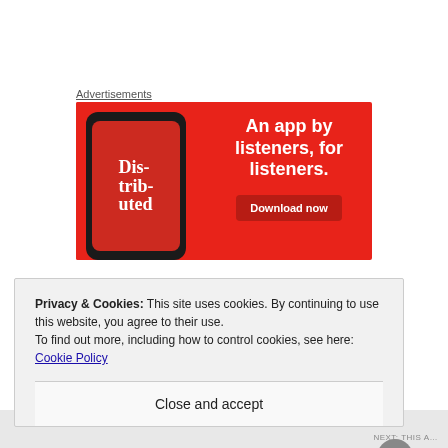Advertisements
[Figure (illustration): Advertisement banner for a podcast listener app. Red background with a phone mockup showing a podcast app screen with text 'Dis-trib-uted'. Right side shows bold white text: 'An app by listeners, for listeners.' with a dark red 'Download now' button.]
Privacy & Cookies: This site uses cookies. By continuing to use this website, you agree to their use.
To find out more, including how to control cookies, see here: Cookie Policy
Close and accept